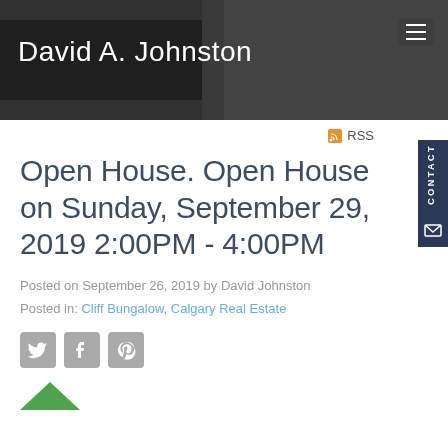David A. Johnston
RSS
Open House. Open House on Sunday, September 29, 2019 2:00PM - 4:00PM
Posted on September 26, 2019 by David Johnston
Posted in: Cliff Bungalow, Calgary Real Estate
[Figure (illustration): Social media share icons: Twitter, Facebook, Pinterest in gray]
[Figure (logo): Green logo/icon partially visible at bottom]